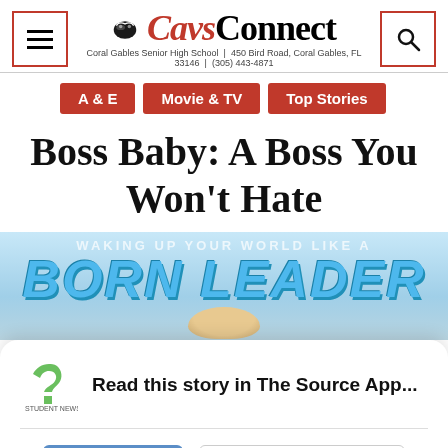CavsConnect — Coral Gables Senior High School | 450 Bird Road, Coral Gables, FL 33146 | (305) 443-4871
A & E
Movie & TV
Top Stories
Boss Baby: A Boss You Won't Hate
[Figure (photo): Boss Baby movie promotional banner showing 'BORN LEADER' text in bold blue italic letters over a light blue background, with the top of a baby's head visible below]
Read this story in The Source App...
Open App
Continue in browser